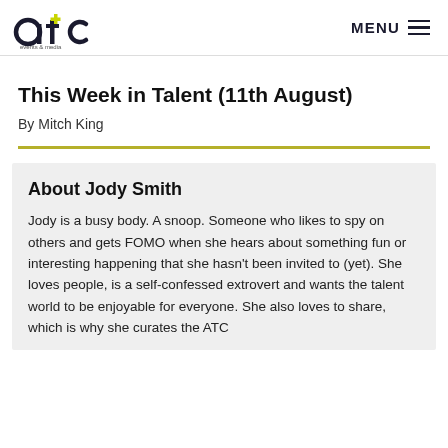ATC events & media | MENU
This Week in Talent (11th August)
By Mitch King
About Jody Smith
Jody is a busy body. A snoop. Someone who likes to spy on others and gets FOMO when she hears about something fun or interesting happening that she hasn't been invited to (yet). She loves people, is a self-confessed extrovert and wants the talent world to be enjoyable for everyone. She also loves to share, which is why she curates the ATC